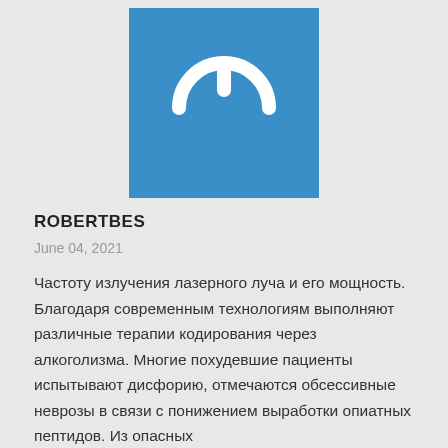[Figure (logo): Blue square logo with white power button icon]
ROBERTBES
June 04, 2021
Частоту излучения лазерного луча и его мощность. Благодаря современным технологиям выполняют различные терапии кодирования через алкоголизма. Многие похудевшие пациенты испытывают дисфорию, отмечаются обсессивные неврозы в связи с понижением выработки опиатных пептидов. Из опасных